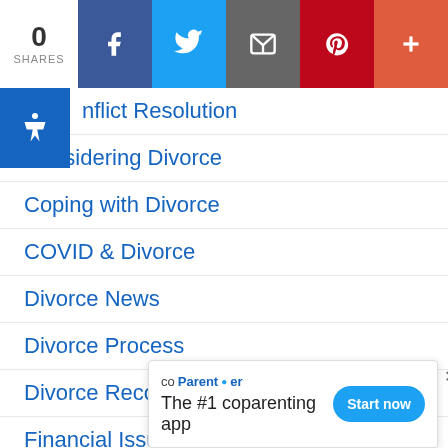[Figure (screenshot): Social share bar with 0 shares count, Facebook, Twitter, Email, Pinterest, and More buttons]
Conflict Resolution
Considering Divorce
Coping with Divorce
COVID & Divorce
Divorce News
Divorce Process
Divorce Recovery
Financial Issues
Gray Divorce
Health & Wellbeing
Inspira...
[Figure (screenshot): coParenter ad banner: The #1 coparenting app with Start now button]